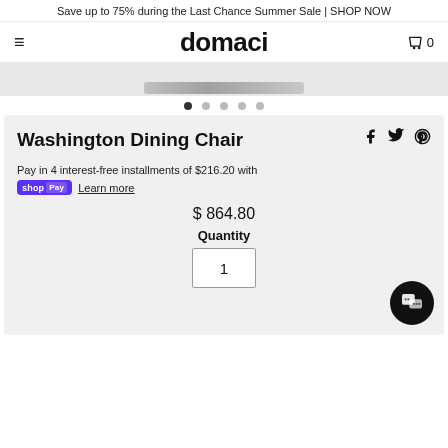Save up to 75% during the Last Chance Summer Sale | SHOP NOW
domaci
[Figure (screenshot): Partial product image visible at bottom edge of image carousel area]
Washington Dining Chair
Pay in 4 interest-free installments of $216.20 with shopPay Learn more
$ 864.80
Quantity
1